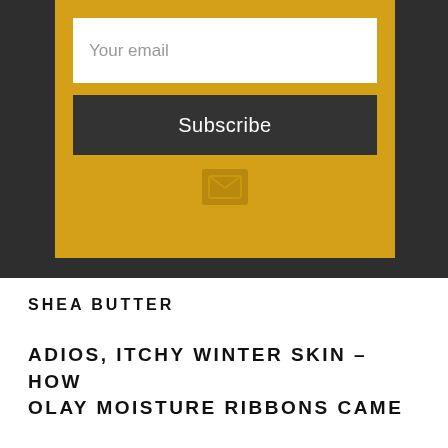[Figure (screenshot): Email subscription form with a yellow/gold background box containing a white email input field with placeholder text 'Your email', a dark gray Subscribe button, and a small icon below, all on a dark background.]
SHEA BUTTER
ADIOS, ITCHY WINTER SKIN – HOW OLAY MOISTURE RIBBONS CAME